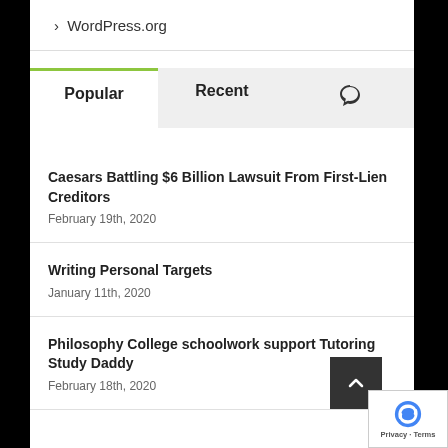> WordPress.org
Popular | Recent | [comments icon]
Caesars Battling $6 Billion Lawsuit From First-Lien Creditors
February 19th, 2020
Writing Personal Targets
January 11th, 2020
Philosophy College schoolwork support Tutoring Study Daddy
February 18th, 2020